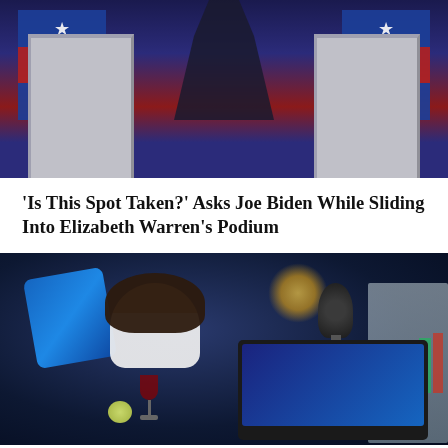[Figure (photo): Debate stage with podiums and American flags, person silhouette in center raising arm]
‘Is This Spot Taken?’ Asks Joe Biden While Sliding Into Elizabeth Warren’s Podium
[Figure (photo): Woman with dark hair in white shirt sitting in dark room working on laptop at night, blue pillow behind her, wine glass and apple on table, lamp in background]